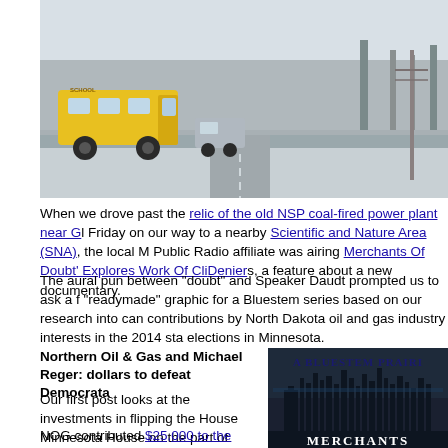[Figure (photo): A school bus driving on a snowy road in winter, with bare trees and snow-covered landscape in the background.]
When we drove past the relic of the old NSP coal-fired power plant near Gl Friday on our way to a nearby Scientific and Nature Area (SNA), the local M Public Radio affiliate was airing Merchants Of Doubt' Explores Work Of Cli Deniers, a feature about a new documentary.
The aural pun between "doubt" and Speaker Daudt prompted us to ask a f "readymade" graphic for a Bluestem series based on our research into can contributions by North Dakota oil and gas industry interests in the 2014 sta elections in Minnesota.
Northern Oil & Gas and Michael Reger: dollars to defeat Democrata
Our first post looks at the investments in flipping the House Minnesota House on the part of Northern Oil and Gas Inc. and its Chair and CEO Michael Reger, both of Wayzata.
NOG contributed $25,000 to the Republican State Leadership Committee on January 6, 2014; the RSLC gave a total of $325,000 to the
[Figure (illustration): A Bluestem Prairie graphic/logo with dark industrial skyline silhouette against a night sky, with 'MERCHANTS' text at bottom.]